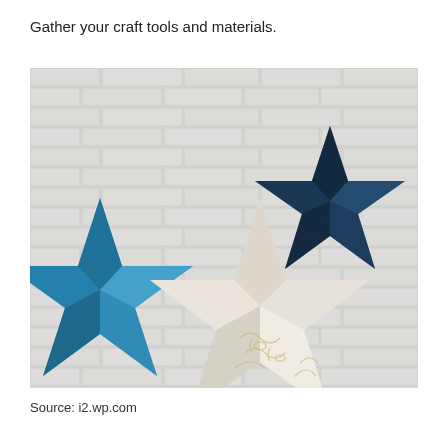Gather your craft tools and materials.
[Figure (photo): Three 3D paper stars against a white brick wall background. A bright blue star is on the left, a dark navy/teal star is in the upper center, and a large decorative white/cream star with gold scroll patterns is in the foreground.]
Source: i2.wp.com